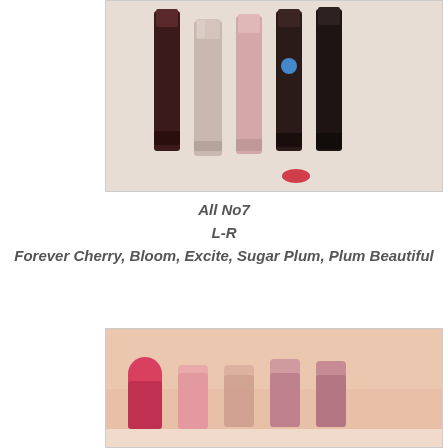[Figure (photo): Photograph of five No7 lipstick tubes standing upright on a light furry surface. Tubes are in dark brown, rose gold/silver, pink, dark brown, and dark brown colors. L-R: Forever Cherry, Bloom, Excite, Sugar Plum, Plum Beautiful.]
All No7
L-R
Forever Cherry, Bloom, Excite, Sugar Plum, Plum Beautiful
[Figure (photo): Photograph of five lipstick swatches on a forearm/wrist skin. Swatches shown left to right correspond to Forever Cherry (deep pink/red), Bloom (light pink), Excite (nude pink), Sugar Plum (mauve/dusty pink), Plum Beautiful (dusty rose). The arm is resting on a white surface.]